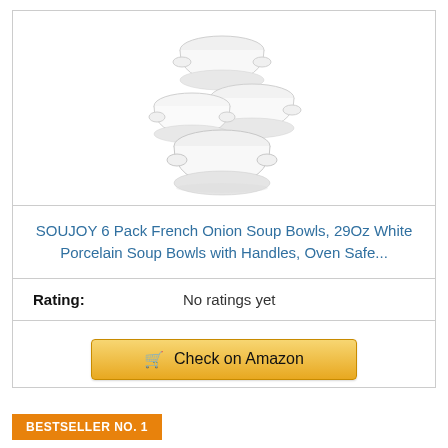[Figure (photo): Stack of 5-6 white porcelain soup bowls with handles, arranged in a pyramid/stack on white background]
SOUJOY 6 Pack French Onion Soup Bowls, 29Oz White Porcelain Soup Bowls with Handles, Oven Safe...
Rating: No ratings yet
Check on Amazon
BESTSELLER NO. 1